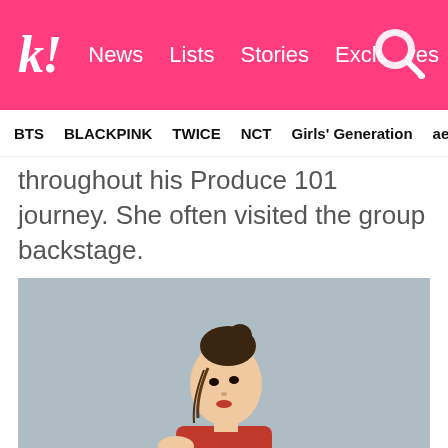k! News  Lists  Stories  Exclusives
BTS  BLACKPINK  TWICE  NCT  Girls' Generation  aespa
throughout his Produce 101 journey. She often visited the group backstage.
[Figure (photo): Young Asian woman with hair in a bun, wearing a red strapless outfit, posed against a light blue-gray background, looking over her shoulder.]